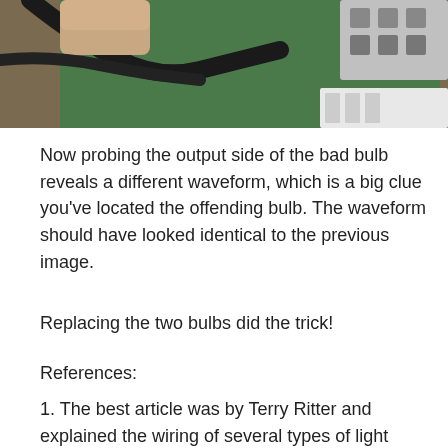[Figure (photo): A close-up photo showing a finger/hand near electrical wiring and a green circuit board with connectors, partially cropped at the top of the page.]
Now probing the output side of the bad bulb reveals a different waveform, which is a big clue you've located the offending bulb. The waveform should have looked identical to the previous image.
Replacing the two bulbs did the trick!
References:
1. The best article was by Terry Ritter and explained the wiring of several types of light strings. There's also a good close-up picture of a typical lamp, showing the shunt at the base of the filament supports. http://www.ciphersbyritter.com/RADELECT/LITES/YMSLITES.HTM